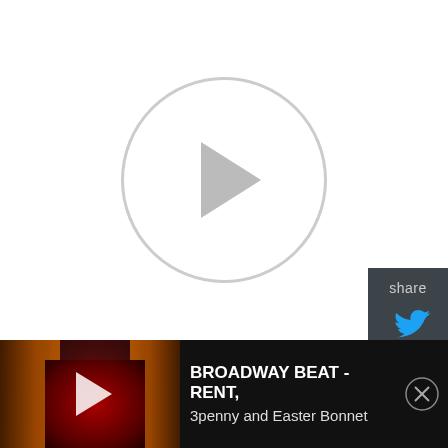[Figure (screenshot): Video player with large play button circle on white background]
[Figure (screenshot): Share sidebar with Twitter and Facebook icons on dark grey background]
[Figure (photo): PAW Patrol Live Race to the Rescue promotional image with logo and characters on stage]
PAW Patrol Live! "Race to the Rescue", featuring the world's favourite
[Figure (screenshot): Broadway Beat video thumbnail showing theater stage with play button]
BROADWAY BEAT - RENT, 3penny and Easter Bonnet